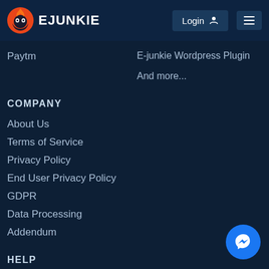E-Junkie navigation bar with Login button and menu icon
Paytm
E-junkie Wordpress Plugin
And more...
COMPANY
About Us
Terms of Service
Privacy Policy
End User Privacy Policy
GDPR
Data Processing
Addendum
HELP